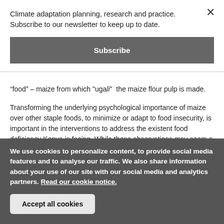Climate adaptation planning, research and practice. Subscribe to our newsletter to keep up to date.
Subscribe
“food” – maize from which "ugali"  the maize flour pulp is made.
Transforming the underlying psychological importance of maize over other staple foods, to minimize or adapt to food insecurity, is important in the interventions to address the existent food deficiency Kenya is facing. While these observations may seem a
We use cookies to personalize content, to provide social media features and to analyse our traffic. We also share information about your use of our site with our social media and analytics partners. Read our cookie notice.
Accept all cookies